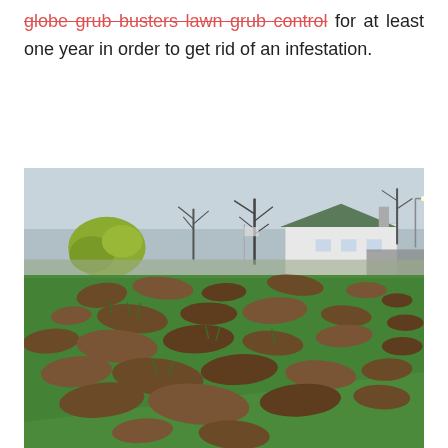globe grub busters lawn grub control for at least one year in order to get rid of an infestation.
[Figure (photo): A sloped lawn with severe grub damage — large patches of turf have been torn up and disturbed, exposing brown dirt and clumps of dead grass across the green lawn. A white house and bare trees are visible in the background.]